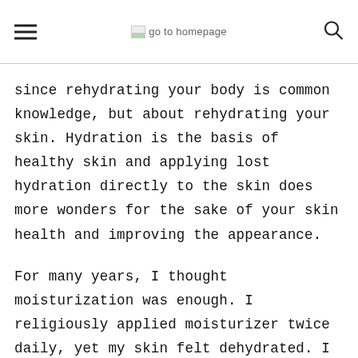go to homepage
since rehydrating your body is common knowledge, but about rehydrating your skin. Hydration is the basis of healthy skin and applying lost hydration directly to the skin does more wonders for the sake of your skin health and improving the appearance.
For many years, I thought moisturization was enough. I religiously applied moisturizer twice daily, yet my skin felt dehydrated. I had oily AND dehydrated skin. My skin was confused and so was I...